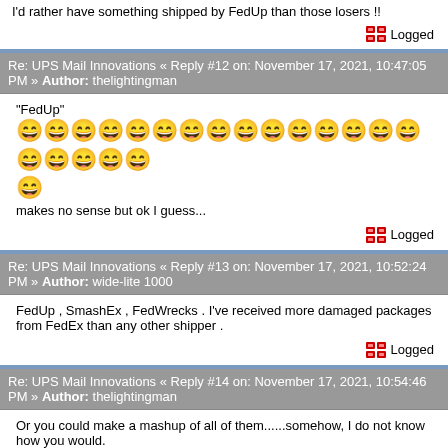I'd rather have something shipped by FedUp than those losers !!
Logged
Re: UPS Mail Innovations « Reply #12 on: November 17, 2021, 10:47:05 PM » Author: thelightingman
"FedUp"
😄😄😄😄😄😄😄😄😄😄😄😄😄😄😄😄😄😄😄😄😄
makes no sense but ok I guess...
Logged
Re: UPS Mail Innovations « Reply #13 on: November 17, 2021, 10:52:24 PM » Author: wide-lite 1000
FedUp , SmashEx , FedWrecks . I've received more damaged packages from FedEx than any other shipper .
Logged
Re: UPS Mail Innovations « Reply #14 on: November 17, 2021, 10:54:46 PM » Author: thelightingman
Or you could make a mashup of all of them......somehow, I do not know how you would.